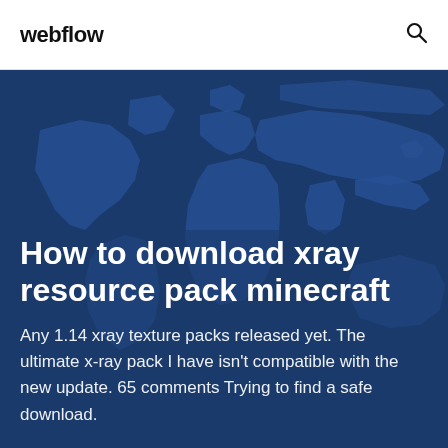webflow
[Figure (illustration): Dark blue world map background illustration with a lighter blue continent overlay, used as a hero section background.]
How to download xray resource pack minecraft
Any 1.14 xray texture packs released yet. The ultimate x-ray pack I have isn't compatible with the new update. 65 comments Trying to find a safe download.